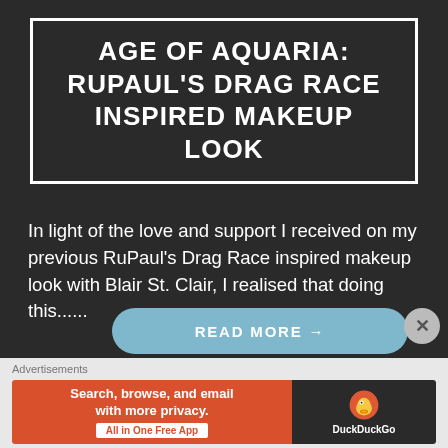AGE OF AQUARIA: RUPAUL'S DRAG RACE INSPIRED MAKEUP LOOK
In light of the love and support I received on my previous RuPaul's Drag Race inspired makeup look with Blair St. Clair, I realised that doing this......
READ MORE →
Advertisements
[Figure (other): DuckDuckGo advertisement banner with orange section reading 'Search, browse, and email with more privacy. All in One Free App' and dark section with DuckDuckGo logo.]